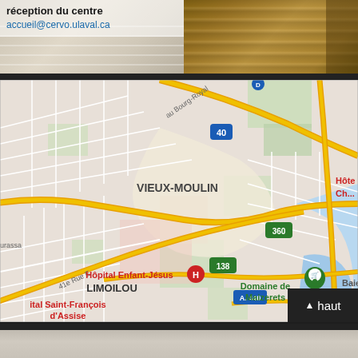[Figure (photo): Two-part photo strip showing interior staircase with white/cream walls on the left with text overlay, and wooden staircase with railings on the right]
réception du centre
accueil@cervo.ulaval.ca
[Figure (map): Google Maps showing Québec City area around VIEUX-MOULIN, showing routes 40, 360, 138, A.440, Hôpital Enfant-Jésus, LIMOILOU, Domaine de Maizerets, Hôtel Charest area, Baie, with Bourg-Royal and 41e Rue E labeled]
[Figure (photo): Partial bottom photo strip, light gray/beige tones]